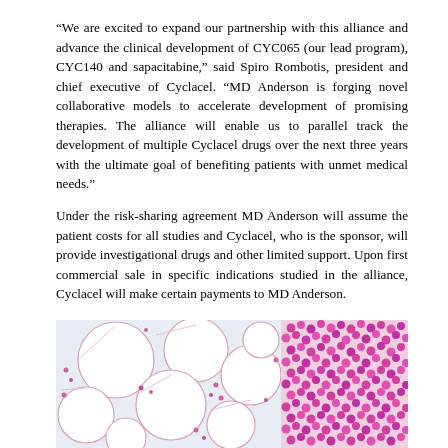“We are excited to expand our partnership with this alliance and advance the clinical development of CYC065 (our lead program), CYC140 and sapacitabine,” said Spiro Rombotis, president and chief executive of Cyclacel. “MD Anderson is forging novel collaborative models to accelerate development of promising therapies. The alliance will enable us to parallel track the development of multiple Cyclacel drugs over the next three years with the ultimate goal of benefiting patients with unmet medical needs.”
Under the risk-sharing agreement MD Anderson will assume the patient costs for all studies and Cyclacel, who is the sponsor, will provide investigational drugs and other limited support. Upon first commercial sale in specific indications studied in the alliance, Cyclacel will make certain payments to MD Anderson.
[Figure (photo): Microscopy image showing bone marrow or blood smear with large white adipocyte cells (fat cells) on the left side and dense pink/magenta clusters of small cells (likely cancer cells or hematopoietic cells) on the right side, consistent with a histological or cytological preparation.]